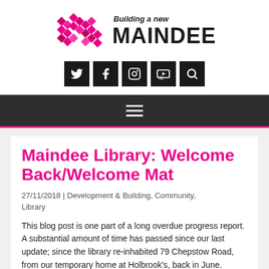[Figure (logo): Building a new Maindee logo with pink M made of diamond shapes and handwritten-style text]
[Figure (infographic): Social media icons row: Twitter, Facebook, Instagram, YouTube, Search — white icons on black square backgrounds]
[Figure (infographic): Dark navigation bar with hamburger menu (three horizontal white lines)]
Maindee Library: Welcome Back/Welcome Mat
27/11/2018 | Development & Building, Community, Library
This blog post is one part of a long overdue progress report. A substantial amount of time has passed since our last update; since the library re-inhabited 79 Chepstow Road, from our temporary home at Holbrook's, back in June.